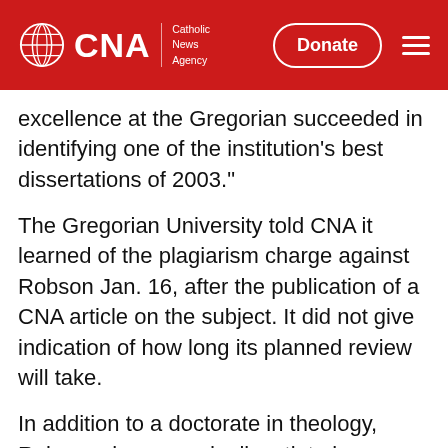CNA | Catholic News Agency — Donate
excellence at the Gregorian succeeded in identifying one of the institution's best dissertations of 2003."
The Gregorian University told CNA it learned of the plagiarism charge against Robson Jan. 16, after the publication of a CNA article on the subject. It did not give indication of how long its planned review will take.
In addition to a doctorate in theology, Robson also earned a licentiate in canon law from the university.
MORE IN VATICAN